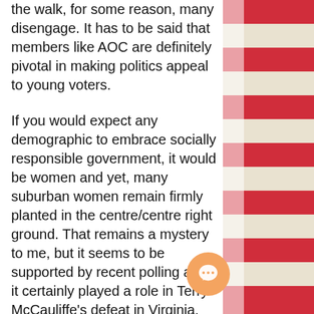the walk, for some reason, many disengage. It has to be said that members like AOC are definitely pivotal in making politics appeal to young voters.
If you would expect any demographic to embrace socially responsible government, it would be women and yet, many suburban women remain firmly planted in the centre/centre right ground. That remains a mystery to me, but it seems to be supported by recent polling and it certainly played a role in Terry McCauliffe's defeat in Virginia. The takeaway from that loss and also the close run in New Jersey for Phil Murphy, was that Republicans are quietly looking for a Trump alternative that will
[Figure (illustration): American flag image visible on the right side of the page, showing red and white stripes with a partial view of the flag]